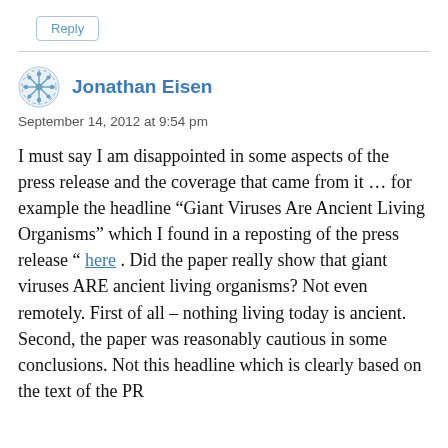Reply
Jonathan Eisen
September 14, 2012 at 9:54 pm
I must say I am disappointed in some aspects of the press release and the coverage that came from it … for example the headline “Giant Viruses Are Ancient Living Organisms” which I found in a reposting of the press release “ here . Did the paper really show that giant viruses ARE ancient living organisms? Not even remotely. First of all – nothing living today is ancient. Second, the paper was reasonably cautious in some conclusions. Not this headline which is clearly based on the text of the PR